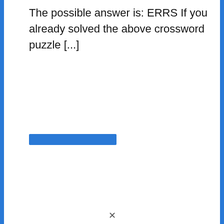The possible answer is: ERRS If you already solved the above crossword puzzle [...]